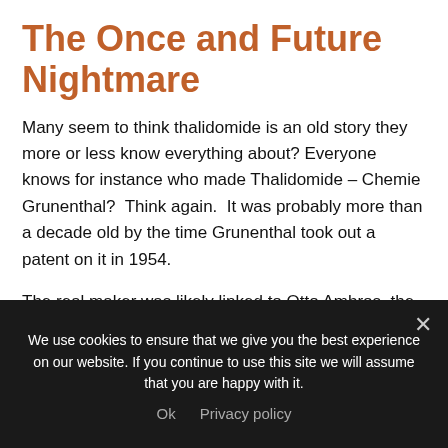The Once and Future Nightmare
Many seem to think thalidomide is an old story they more or less know everything about? Everyone knows for instance who made Thalidomide – Chemie Grunenthal?  Think again.  It was probably more than a decade old by the time Grunenthal took out a patent on it in 1954.
The real maker was likely linked to Otto Ambros, the man responsible for the camp at Auschwitz, whose job it was to produce nerve poisons. Ambros was
We use cookies to ensure that we give you the best experience on our website. If you continue to use this site we will assume that you are happy with it.
Ok   Privacy policy